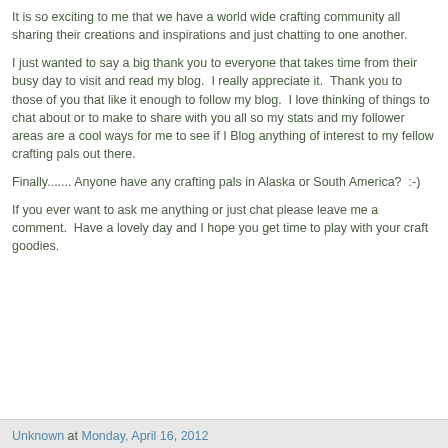It is so exciting to me that we have a world wide crafting community all sharing their creations and inspirations and just chatting to one another.
I just wanted to say a big thank you to everyone that takes time from their busy day to visit and read my blog.  I really appreciate it.  Thank you to those of you that like it enough to follow my blog.  I love thinking of things to chat about or to make to share with you all so my stats and my follower areas are a cool ways for me to see if I Blog anything of interest to my fellow crafting pals out there.
Finally....... Anyone have any crafting pals in Alaska or South America?  :-)
If you ever want to ask me anything or just chat please leave me a comment.  Have a lovely day and I hope you get time to play with your craft goodies.
Unknown at Monday, April 16, 2012